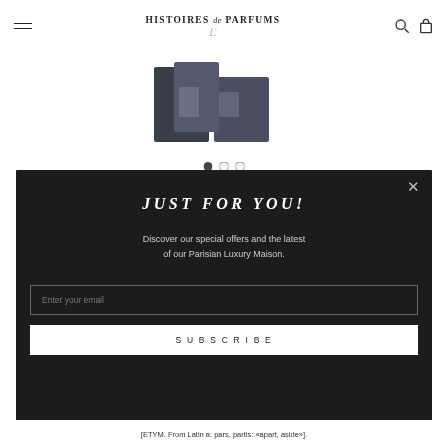HISTOIRES de PARFUMS
[Figure (photo): Partial product image of perfume bottles on white background with carousel dots below]
THIS IS NOT A BLUE BOTTLE 1/.5 BATH ON DEMAND
JUST FOR YOU!
Discover our special offers and the latest of our Parisian Luxury Maison.
Enter your email
SUBSCRIBE
[ETYM. From Latin a: pars, partis: «apart, aside»].